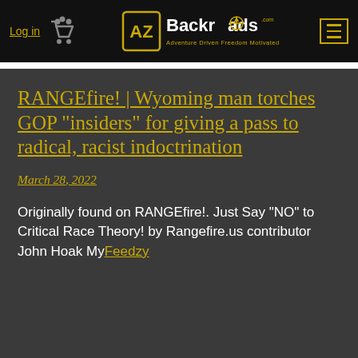Log in | AZ Backroads — Adventure Driven Freedom Motivated
RANGEfire! | Wyoming man torches GOP “insiders” for giving a pass to radical, racist indoctrination
March 28, 2022
Originally found on RANGEfire!. Just Say “NO” to Critical Race Theory! by Rangefire.us contributor John Hoak My